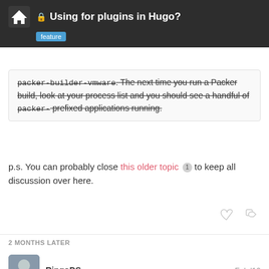Using for plugins in Hugo? feature
packer-builder-vmware. The next time you run a Packer build, look at your process list and you should see a handful of packer- prefixed applications running.
p.s. You can probably close this older topic 1 to keep all discussion over here.
2 MONTHS LATER
RingoDS  Feb '16
The plugin system from Packer can be found here:
[Figure (screenshot): GitHub link card showing '7 / 13' badge in pink]
7 / 13